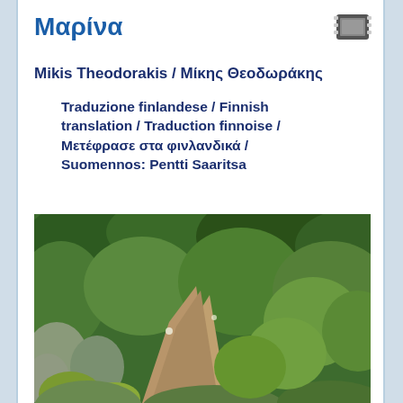Μαρίνα
Mikis Theodorakis / Μίκης Θεοδωράκης
Traduzione finlandese / Finnish translation / Traduction finnoise / Μετέφρασε στα φινλανδικά / Suomennos: Pentti Saaritsa
[Figure (photo): A lush green hillside path with dense Mediterranean vegetation including shrubs, wildflowers, and various green plants along a dirt trail.]